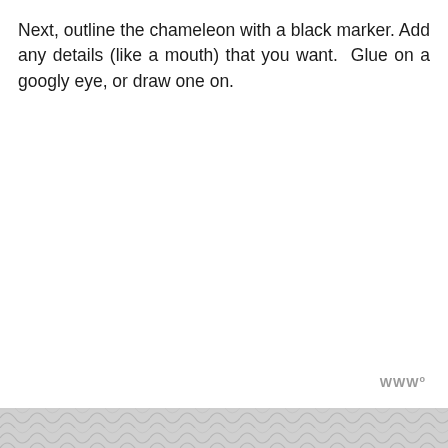Next, outline the chameleon with a black marker. Add any details (like a mouth) that you want. Glue on a googly eye, or draw one on.
[Figure (illustration): Decorative nature/leaf texture image strip at the bottom of the page, grayscale herringbone or leaf pattern]